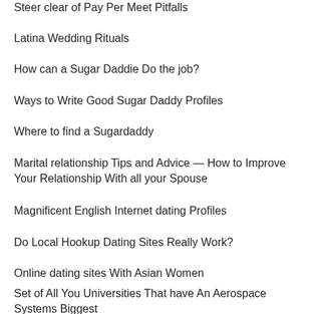Steer clear of Pay Per Meet Pitfalls
Latina Wedding Rituals
How can a Sugar Daddie Do the job?
Ways to Write Good Sugar Daddy Profiles
Where to find a Sugardaddy
Marital relationship Tips and Advice — How to Improve Your Relationship With all your Spouse
Magnificent English Internet dating Profiles
Do Local Hookup Dating Sites Really Work?
Online dating sites With Asian Women
Set of All You Universities That have An Aerospace Systems Biggest